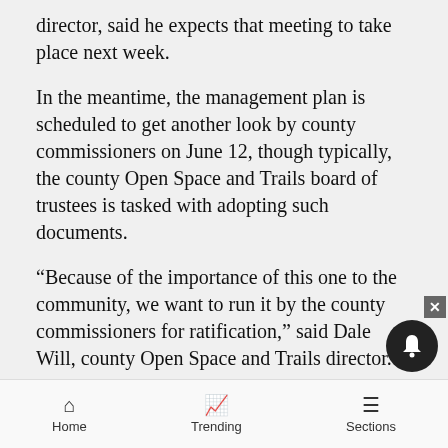director, said he expects that meeting to take place next week.
In the meantime, the management plan is scheduled to get another look by county commissioners on June 12, though typically, the county Open Space and Trails board of trustees is tasked with adopting such documents.
“Because of the importance of this one to the community, we want to run it by the county commissioners for ratification,” said Dale Will, county Open Space and Trails director.
Wilkinson anticipates that the management plan will be taken up again by the Snowmass Town Council in June, ideally when all five members are present.
Home   Trending   Sections